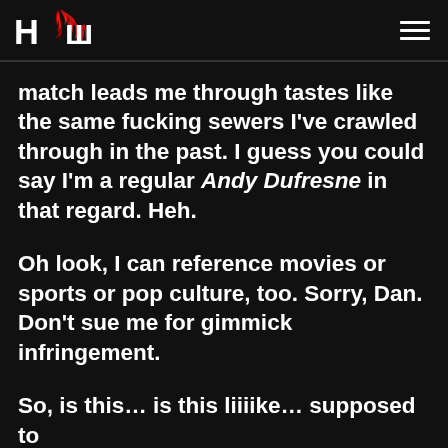HCW logo and navigation header
match leads me through tastes like the same fucking sewers I've crawled through in the past. I guess you could say I'm a regular Andy Dufresne in that regard. Heh.
Oh look, I can reference movies or sports or pop culture, too. Sorry, Dan. Don't sue me for gimmick infringement.
So, is this… is this liiiike… supposed to